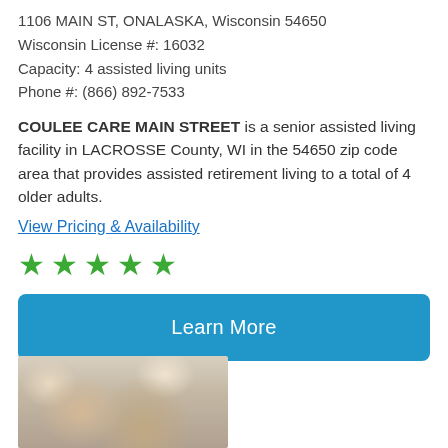1106 MAIN ST, ONALASKA, Wisconsin 54650
Wisconsin License #: 16032
Capacity: 4 assisted living units
Phone #: (866) 892-7533
COULEE CARE MAIN STREET is a senior assisted living facility in LACROSSE County, WI in the 54650 zip code area that provides assisted retirement living to a total of 4 older adults.
View Pricing & Availability
[Figure (other): Five green star rating icons]
Learn More
[Figure (photo): Photo of a younger woman assisting an elderly woman, likely in a care setting]